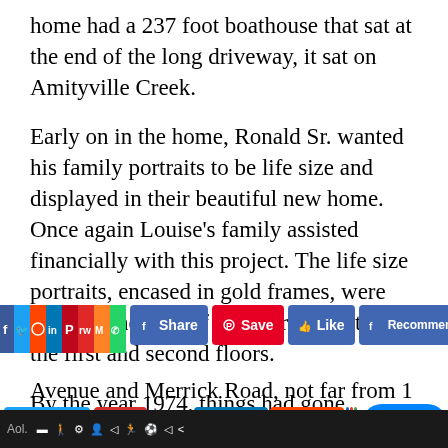home had a 237 foot boathouse that sat at the end of the long driveway, it sat on Amityville Creek.
Early on in the home, Ronald Sr. wanted his family portraits to be life size and displayed in their beautiful new home. Once again Louise's family assisted financially with this project. The life size portraits, encased in gold frames, were hung on the wall of the staircase between the first and second floors.
By the year 1974, things had gone horribly wrong in the DeFeo home. On November 13th, 1974 the patrons of Henry's Bar witnessed Ronald DeFeo Jr., [text continues] ...parents had been shot. The [text continues] ...Avenue and Merrick Road, not far from 1...
[Figure (screenshot): Social media share bar overlay with buttons: Facebook, Twitter, Reddit, LinkedIn, Pinterest, Flipboard, Mix, WhatsApp icons; Share, Save, Like, Recommend buttons; Tweet, Yum, LinkedIn Share, Reddit Share, Chat buttons; App toolbar at bottom]